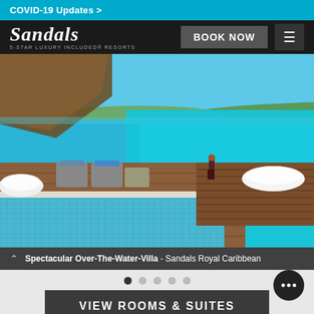COVID-19 Updates >
Sandals — 5-STAR LUXURY INCLUDED RESORTS
BOOK NOW
[Figure (photo): Aerial/ground-level view of an over-the-water villa at Sandals Royal Caribbean, featuring a private pool with blue mosaic tiles, wooden deck, lounge chairs over turquoise Caribbean sea, and a person in swimwear standing at the water's edge.]
Spectacular Over-The-Water-Villa - Sandals Royal Caribbean
VIEW ROOMS & SUITES